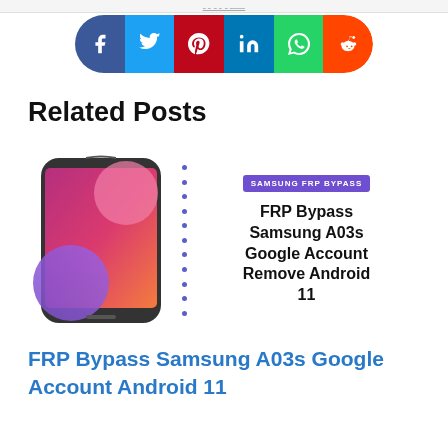[Figure (infographic): Social media share buttons bar: Facebook (blue), Twitter (light blue), Pinterest (red), LinkedIn (blue), WhatsApp (green), Reddit (orange), arranged in a rounded pill shape]
Related Posts
[Figure (screenshot): Thumbnail image of a Samsung Galaxy A03s phone next to text reading 'Samsung FRP Bypass' tag and 'FRP Bypass Samsung A03s Google Account Remove Android 11']
FRP Bypass Samsung A03s Google Account Android 11